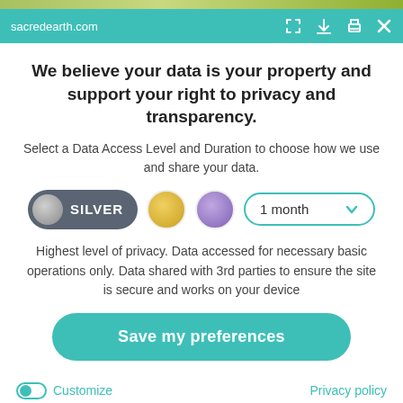[Figure (screenshot): Green image bar at top of popup]
sacredearth.com
We believe your data is your property and support your right to privacy and transparency.
Select a Data Access Level and Duration to choose how we use and share your data.
[Figure (infographic): Data access level selector with Silver (selected), Gold, Purple circles and 1 month dropdown]
Highest level of privacy. Data accessed for necessary basic operations only. Data shared with 3rd parties to ensure the site is secure and works on your device
[Figure (infographic): Save my preferences button (teal rounded)]
Customize
Privacy policy